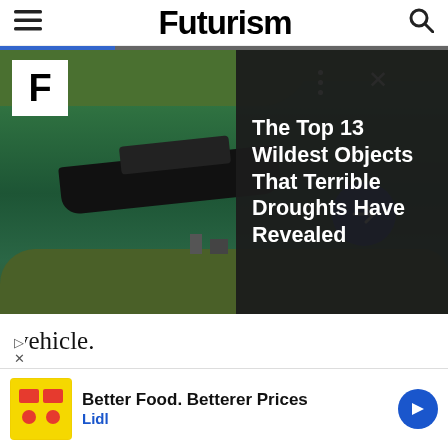Futurism
[Figure (screenshot): Aerial drone view of a boat on green water, with Futurism F logo overlay, progress bar, three-dots and X controls, blue arrow button, and dark panel showing article headline 'The Top 13 Wildest Objects That Terrible Droughts Have Revealed']
vehicle.
The system would automatically settle payments atever basis the owners agree upon. Maybe pay a per mile fee into a shared account, or ea payment vehic e
Better Food. Betterer Prices Lidl